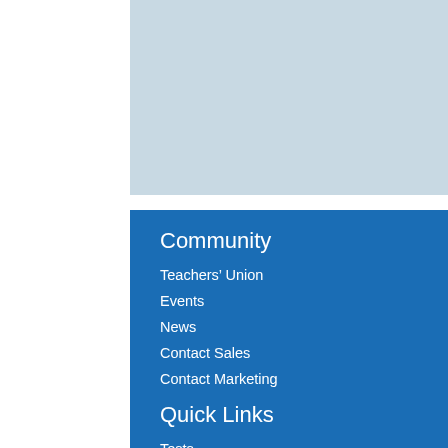[Figure (illustration): Light blue rectangle placeholder image area]
Community
Teachers’ Union
Events
News
Contact Sales
Contact Marketing
Quick Links
Tests
Continuous Professional Development